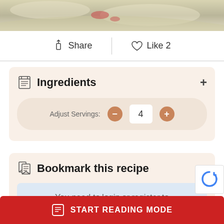[Figure (photo): Partial top food photo showing a dessert or dish on a plate]
Share
Like 2
Ingredients
Adjust Servings: 4
Bookmark this recipe
You need to login or register to
START READING MODE